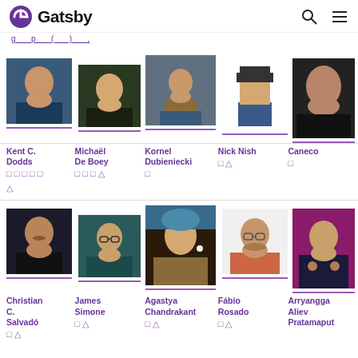Gatsby
partial navigation link text (truncated)
[Figure (photo): Profile photo of Kent C. Dodds]
Kent C. Dodds
[Figure (photo): Profile photo of Michaël De Boey]
Michaël De Boey
[Figure (photo): Profile photo of Kornel Dubieniecki]
Kornel Dubieniecki
[Figure (illustration): Pixel art avatar for Nick Nish]
Nick Nish
[Figure (photo): Profile photo of Caneco]
Caneco
[Figure (photo): Profile photo of Christian C. Salvadó]
Christian C. Salvadó
[Figure (photo): Profile photo of James Simone]
James Simone
[Figure (photo): Profile photo of Agastya Chandrakant]
Agastya Chandrakant
[Figure (photo): Profile photo of Fábio Rosado]
Fábio Rosado
[Figure (photo): Profile photo of Arryangga Aliev Pratamaputra]
Arryangga Aliev Pratamaput